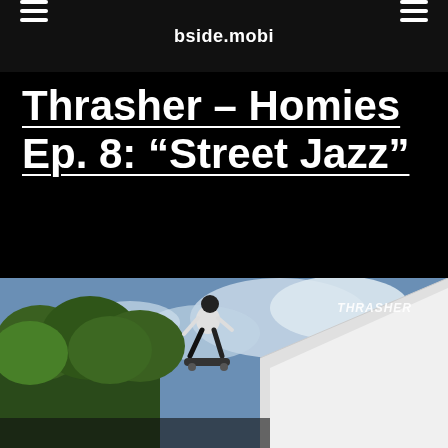bside.mobi
Thrasher – Homies Ep. 8: "Street Jazz"
[Figure (photo): Skateboarder performing a trick in the air near a ramp, with trees and blue sky in background. Thrasher logo visible in upper right corner.]